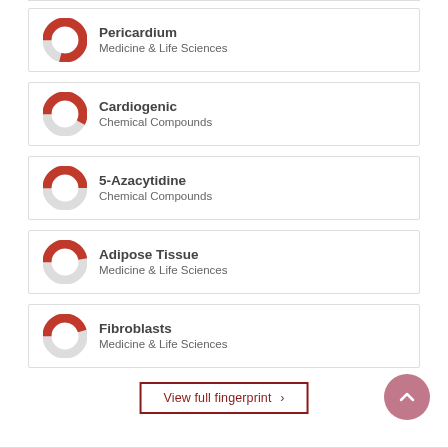Pericardium — Medicine & Life Sciences
Cardiogenic — Chemical Compounds
5-Azacytidine — Chemical Compounds
Adipose Tissue — Medicine & Life Sciences
Fibroblasts — Medicine & Life Sciences
View full fingerprint ›